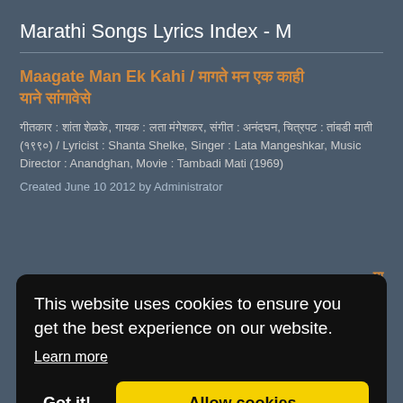Marathi Songs Lyrics Index - M
Maagate Man Ek Kahi / मागते मन एक काही याने सांगावेसे
गीतकार : शांता शेळके, गायक : लता मंगेशकर, संगीत : अनंदघन, चित्रपट : तांबडी माती (१९९०) / Lyricist : Shanta Shelke, Singer : Lata Mangeshkar, Music Director : Anandghan, Movie : Tambadi Mati (1969)
Created June 10 2012 by Administrator
This website uses cookies to ensure you get the best experience on our website.
Learn more
Got it!
Allow cookies